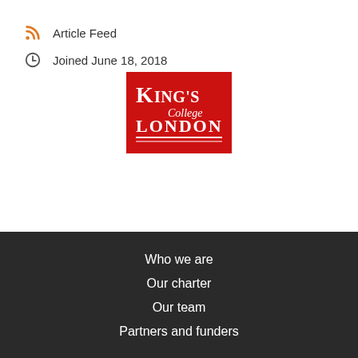Article Feed
Joined June 18, 2018
[Figure (logo): King's College London logo — red rectangle with white serif text reading KING'S College LONDON with double underline]
Who we are
Our charter
Our team
Partners and funders